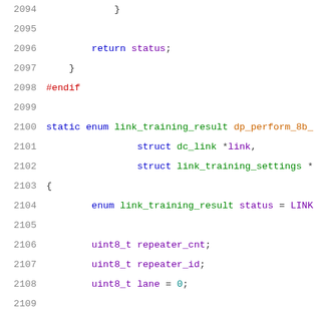Source code listing lines 2094-2114, C language kernel/driver code
2094        }
2095
2096            return status;
2097    }
2098    #endif
2099
2100    static enum link_training_result dp_perform_8b_
2101                    struct dc_link *link,
2102                    struct link_training_settings *
2103    {
2104            enum link_training_result status = LINK
2105
2106            uint8_t repeater_cnt;
2107            uint8_t repeater_id;
2108            uint8_t lane = 0;
2109
2110            if (link->ctx->dc->work_arounds.lt_earl
2111                    start_clock_recovery_pattern_ea
2112
2113            /* 1. set link rate, lane count and spr
2114            dpcd_set_link_settings(link, lt_setting